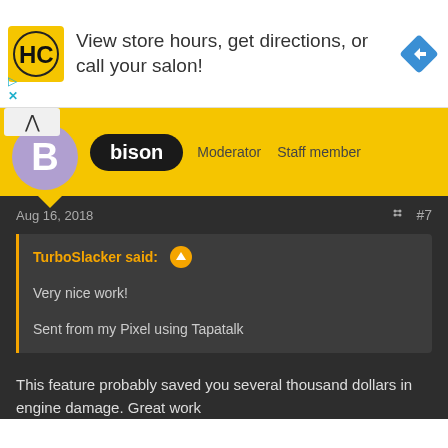[Figure (logo): Advertisement banner for a salon app with HC logo, text 'View store hours, get directions, or call your salon!' and a blue navigation arrow icon]
[Figure (screenshot): Forum post header showing user 'bison' with Moderator and Staff member badges on a yellow background]
Aug 16, 2018   < #7
TurboSlacker said: ↑

Very nice work!

Sent from my Pixel using Tapatalk
This feature probably saved you several thousand dollars in engine damage. Great work